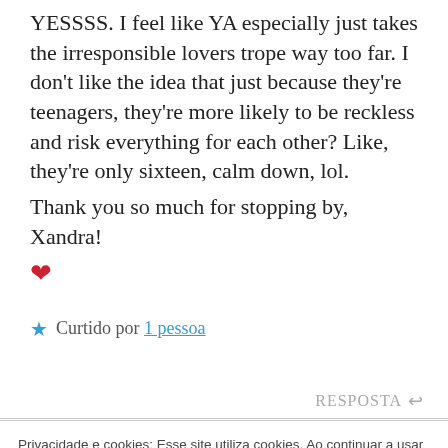YESSSS. I feel like YA especially just takes the irresponsible lovers trope way too far. I don't like the idea that just because they're teenagers, they're more likely to be reckless and risk everything for each other? Like, they're only sixteen, calm down, lol.
Thank you so much for stopping by, Xandra! ❤
★ Curtido por 1 pessoa
RESPOSTA ↩
Privacidade e cookies: Esse site utiliza cookies. Ao continuar a usar este site, você concorda com seu uso.
Para saber mais, inclusive sobre como controlar os cookies, consulte aqui: Política de cookies
Fechar e aceitar